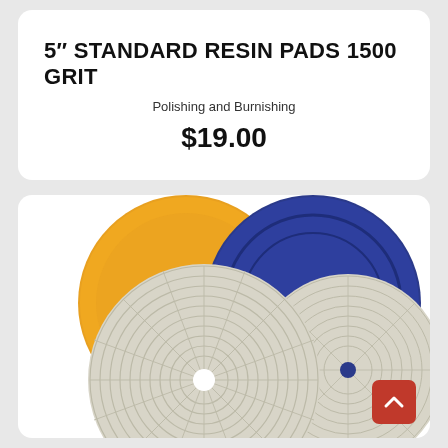5" STANDARD RESIN PADS 1500 GRIT
Polishing and Burnishing
$19.00
[Figure (photo): Three resin polishing pads: one orange/yellow circular pad, one dark blue circular pad with the number 50, and two white/cream segmented diamond polishing pads with concentric ring patterns and center holes.]